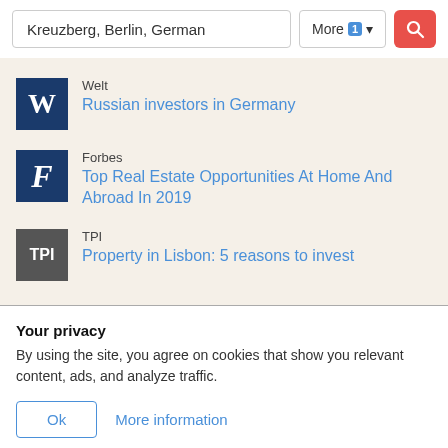Kreuzberg, Berlin, German
More 1 ▾
Welt — Russian investors in Germany
Forbes — Top Real Estate Opportunities At Home And Abroad In 2019
TPI — Property in Lisbon: 5 reasons to invest
Your privacy
By using the site, you agree on cookies that show you relevant content, ads, and analyze traffic.
Ok   More information